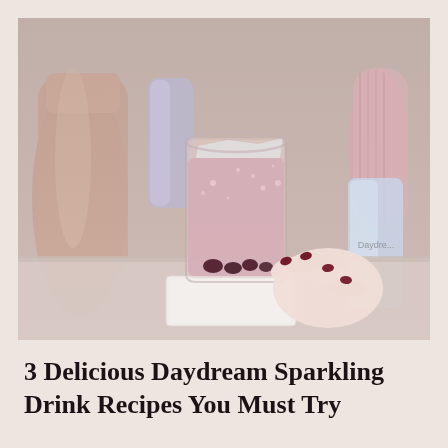[Figure (photo): A hand with dark red nail polish holds a clear glass tumbler filled with a pink sparkling drink and dark berries at the bottom, placed on a white marble coaster. Background includes a rose gold cocktail shaker, iridescent cans, and a pink vase in a soft blurred setting.]
3 Delicious Daydream Sparkling Drink Recipes You Must Try